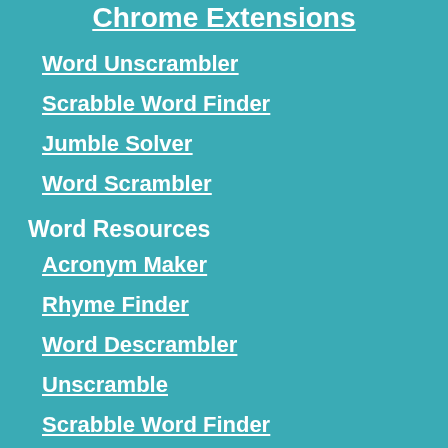Chrome Extensions
Word Unscrambler
Scrabble Word Finder
Jumble Solver
Word Scrambler
Word Resources
Acronym Maker
Rhyme Finder
Word Descrambler
Unscramble
Scrabble Word Finder
Jumble Cheat